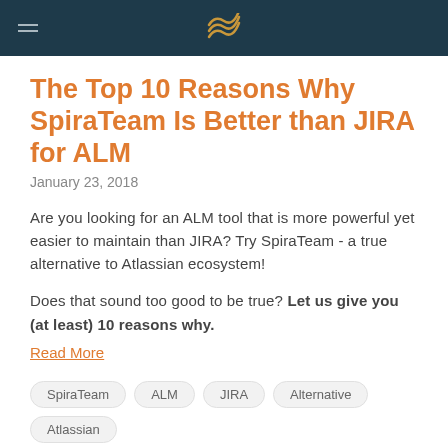Navigation bar with hamburger menu and logo
The Top 10 Reasons Why SpiraTeam Is Better than JIRA for ALM
January 23, 2018
Are you looking for an ALM tool that is more powerful yet easier to maintain than JIRA? Try SpiraTeam - a true alternative to Atlassian ecosystem!
Does that sound too good to be true? Let us give you (at least) 10 reasons why.
Read More
SpiraTeam
ALM
JIRA
Alternative
Atlassian